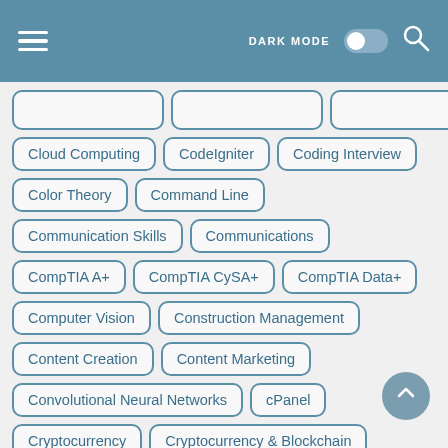[Figure (screenshot): Mobile app header with hamburger menu, DARK MODE toggle, and search icon on blue background]
Cloud Computing
CodeIgniter
Coding Interview
Color Theory
Command Line
Communication Skills
Communications
CompTIA A+
CompTIA CySA+
CompTIA Data+
Computer Vision
Construction Management
Content Creation
Content Marketing
Convolutional Neural Networks
cPanel
Cryptocurrency
Cryptocurrency & Blockchain
CSS
CSS Animations
CSS Flexbox
CSS Grid
Cyber Security
Cyber Security Social Engineering
Cypress.io
D
D3.js
DApp